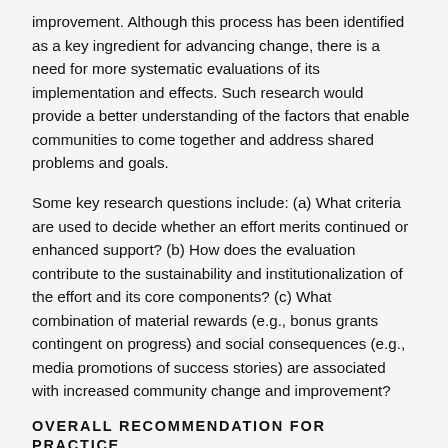improvement. Although this process has been identified as a key ingredient for advancing change, there is a need for more systematic evaluations of its implementation and effects. Such research would provide a better understanding of the factors that enable communities to come together and address shared problems and goals.
Some key research questions include: (a) What criteria are used to decide whether an effort merits continued or enhanced support? (b) How does the evaluation contribute to the sustainability and institutionalization of the effort and its core components? (c) What combination of material rewards (e.g., bonus grants contingent on progress) and social consequences (e.g., media promotions of success stories) are associated with increased community change and improvement?
OVERALL RECOMMENDATION FOR PRACTICE
Based on research and experience, we recommend (with qualifications) Making Outcomes Matter as a key process to advance community change and improvement. The process